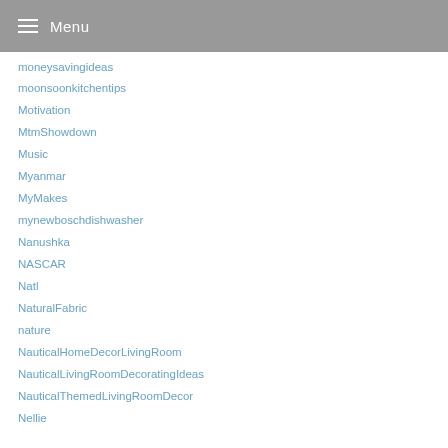Menu
moneysavingideas
moonsoonkitchentips
Motivation
MtmShowdown
Music
Myanmar
MyMakes
mynewboschdishwasher
Nanushka
NASCAR
Natl
NaturalFabric
nature
NauticalHomeDecorLivingRoom
NauticalLivingRoomDecoratingIdeas
NauticalThemedLivingRoomDecor
Nellie